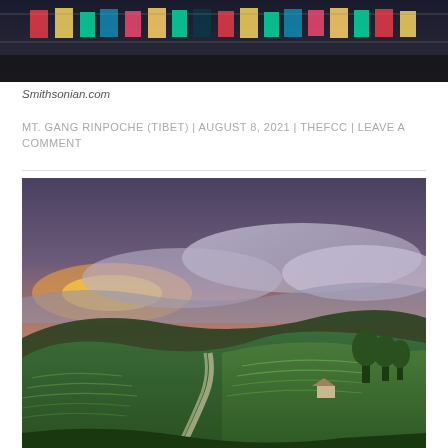[Figure (photo): Partial view of a colorful scene with prayer flags or decorative banners, dark moody sky background]
Smithsonian.com
MT. GANG RINPOCHE (TIBET) | AUGUST 8, 2021 | THEFCC | LEAVE A COMMENT
[Figure (photo): Scenic landscape photograph of green rolling hills covered in tea plantations with a winding road, misty clouds, and a dramatic sunset sky with orange and pink hues on the horizon]